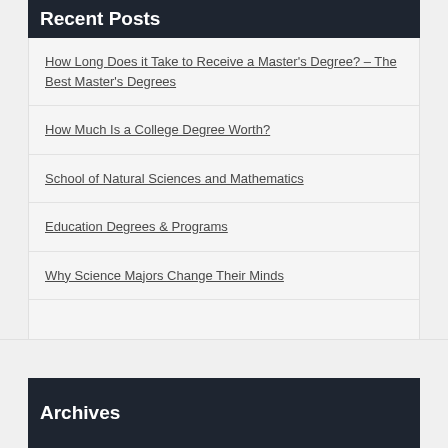Recent Posts
How Long Does it Take to Receive a Master's Degree? – The Best Master's Degrees
How Much Is a College Degree Worth?
School of Natural Sciences and Mathematics
Education Degrees & Programs
Why Science Majors Change Their Minds
Archives